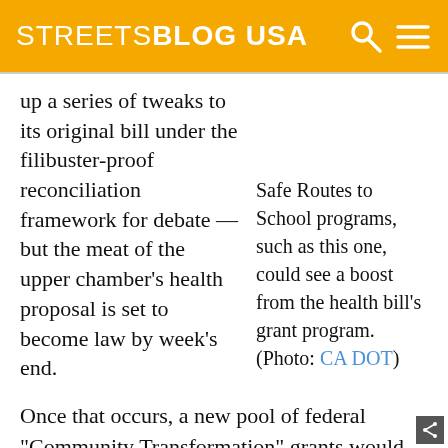STREETSBLOG USA
up a series of tweaks to its original bill under the filibuster-proof reconciliation framework for debate — but the meat of the upper chamber's health proposal is set to become law by week's end.
Safe Routes to School programs, such as this one, could see a boost from the health bill's grant program. (Photo: CA DOT)
Once that occurs, a new pool of federal "Community Transformation" grants would be established, with local governments and nonprofit groups eligible for a share of the funding. As Streetsblog Capitol Hill noted back in November, the grants would go towards